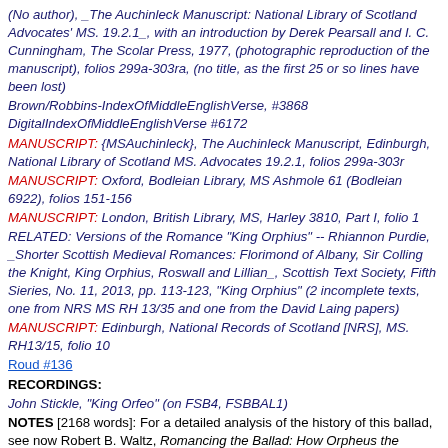(No author), _The Auchinleck Manuscript: National Library of Scotland Advocates' MS. 19.2.1_, with an introduction by Derek Pearsall and I. C. Cunningham, The Scolar Press, 1977, (photographic reproduction of the manuscript), folios 299a-303ra, (no title, as the first 25 or so lines have been lost)
Brown/Robbins-IndexOfMiddleEnglishVerse, #3868
DigitalIndexOfMiddleEnglishVerse #6172
MANUSCRIPT: {MSAuchinleck}, The Auchinleck Manuscript, Edinburgh, National Library of Scotland MS. Advocates 19.2.1, folios 299a-303r
MANUSCRIPT: Oxford, Bodleian Library, MS Ashmole 61 (Bodleian 6922), folios 151-156
MANUSCRIPT: London, British Library, MS, Harley 3810, Part I, folio 1
RELATED: Versions of the Romance "King Orphius" -- Rhiannon Purdie, _Shorter Scottish Medieval Romances: Florimond of Albany, Sir Colling the Knight, King Orphius, Roswall and Lillian_, Scottish Text Society, Fifth Sieries, No. 11, 2013, pp. 113-123, "King Orphius" (2 incomplete texts, one from NRS MS RH 13/35 and one from the David Laing papers)
MANUSCRIPT: Edinburgh, National Records of Scotland [NRS], MS. RH13/15, folio 10
Roud #136
RECORDINGS:
John Stickle, "King Orfeo" (on FSB4, FSBBAL1)
NOTES [2168 words]: For a detailed analysis of the history of this ballad, see now Robert B. Waltz, Romancing the Ballad: How Orpheus the Minstrel became King Orfeo, Loomis House Press,